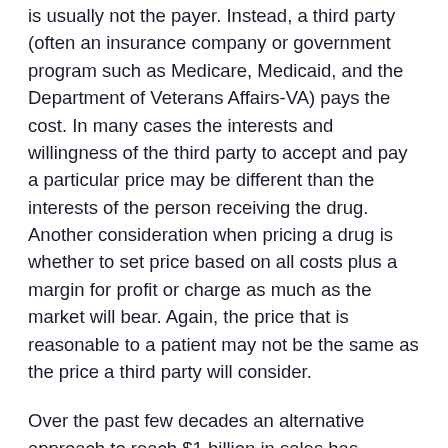is usually not the payer. Instead, a third party (often an insurance company or government program such as Medicare, Medicaid, and the Department of Veterans Affairs-VA) pays the cost. In many cases the interests and willingness of the third party to accept and pay a particular price may be different than the interests of the person receiving the drug. Another consideration when pricing a drug is whether to set price based on all costs plus a margin for profit or charge as much as the market will bear. Again, the price that is reasonable to a patient may not be the same as the price a third party will consider.
Over the past few decades an alternative approach to reach $1 billion in sales has emerged. Specialized treatments, mainly for specific types of cancer and rare diseases, have come to market that offer great benefits to a small patient population. The $1 billion threshold market reality made it very difficult for many years to develop drugs for rare and neglected diseases. The